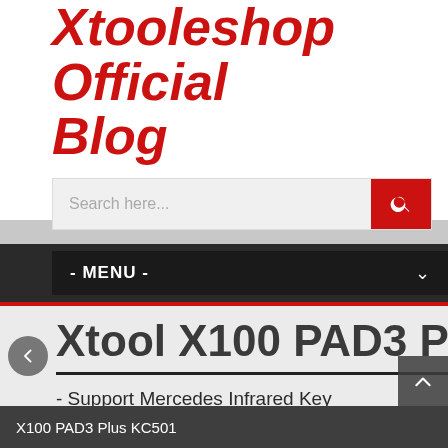Xtooleshop Official Blog
Search here...
- MENU -
Xtool X100 PAD3 Plu
- Support Mercedes Infrared Key
- Read&Write MCU/EEPROM Chip
- Generate Dealer Key
- Support 124 kind of EEPROM, 7 MCU,
X100 PAD3 Plus KC501